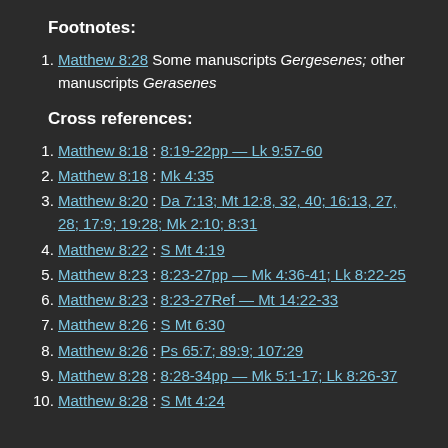Footnotes:
Matthew 8:28 Some manuscripts Gergesenes; other manuscripts Gerasenes
Cross references:
Matthew 8:18 : 8:19-22pp — Lk 9:57-60
Matthew 8:18 : Mk 4:35
Matthew 8:20 : Da 7:13; Mt 12:8, 32, 40; 16:13, 27, 28; 17:9; 19:28; Mk 2:10; 8:31
Matthew 8:22 : S Mt 4:19
Matthew 8:23 : 8:23-27pp — Mk 4:36-41; Lk 8:22-25
Matthew 8:23 : 8:23-27Ref — Mt 14:22-33
Matthew 8:26 : S Mt 6:30
Matthew 8:26 : Ps 65:7; 89:9; 107:29
Matthew 8:28 : 8:28-34pp — Mk 5:1-17; Lk 8:26-37
Matthew 8:28 : S Mt 4:24